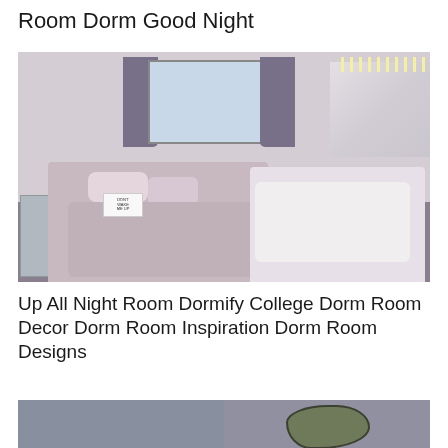Room Dorm Good Night
[Figure (photo): A decorated college dorm room with two beds, pink and grey bedding, fairy lights, white brick walls, grey curtains, and a dresser. The room has a cozy aesthetic with pillows, blankets, and string lights.]
Up All Night Room Dormify College Dorm Room Decor Dorm Room Inspiration Dorm Room Designs
[Figure (photo): Partially visible image at the bottom of the page showing a dorm room layout with a blob-shaped object on the right side, divided by a vertical line.]